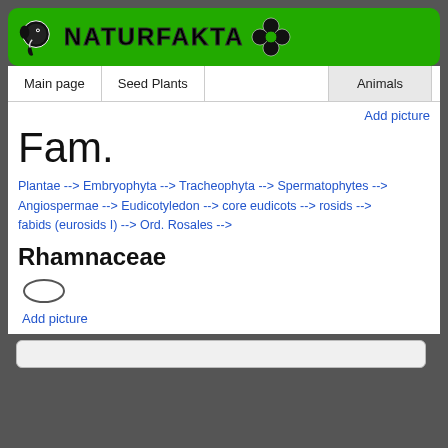NATURFAKTA
Main page | Seed Plants | Animals
Add picture
Fam.
Plantae --> Embryophyta --> Tracheophyta --> Spermatophytes --> Angiospermae --> Eudicotyledon --> core eudicots --> rosids --> fabids (eurosids I) --> Ord. Rosales -->
Rhamnaceae
[Figure (illustration): Oval/ellipse placeholder icon]
Add picture